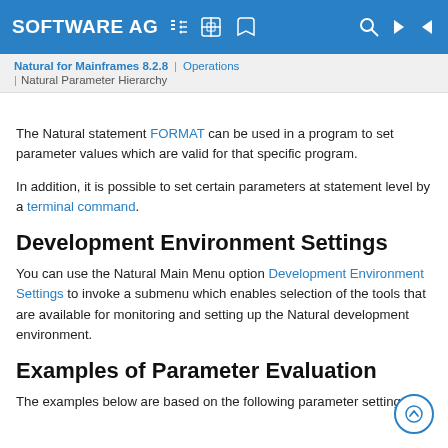SOFTWARE AG
Natural for Mainframes 8.2.8 | Operations | Natural Parameter Hierarchy
The Natural statement FORMAT can be used in a program to set parameter values which are valid for that specific program.
In addition, it is possible to set certain parameters at statement level by a terminal command.
Development Environment Settings
You can use the Natural Main Menu option Development Environment Settings to invoke a submenu which enables selection of the tools that are available for monitoring and setting up the Natural development environment.
Examples of Parameter Evaluation
The examples below are based on the following parameter settings: